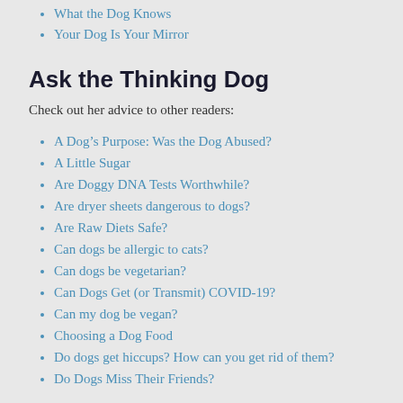What the Dog Knows
Your Dog Is Your Mirror
Ask the Thinking Dog
Check out her advice to other readers:
A Dog's Purpose: Was the Dog Abused?
A Little Sugar
Are Doggy DNA Tests Worthwhile?
Are dryer sheets dangerous to dogs?
Are Raw Diets Safe?
Can dogs be allergic to cats?
Can dogs be vegetarian?
Can Dogs Get (or Transmit) COVID-19?
Can my dog be vegan?
Choosing a Dog Food
Do dogs get hiccups? How can you get rid of them?
Do Dogs Miss Their Friends?